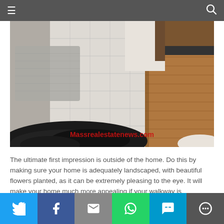☰  [navigation]  🔍
[Figure (photo): Interior flooring photo showing light-colored tile/wood floor with a grey area rug on the left and warm brown wood floor on the right, with a dark black fluffy rug in the foreground. Watermark text reads: Massrealestatenews.com]
The ultimate first impression is outside of the home. Do this by making sure your home is adequately landscaped, with beautiful flowers planted, as it can be extremely pleasing to the eye. It will make your home much more appealing if your walkway is
Twitter | Facebook | Email | WhatsApp | SMS | More